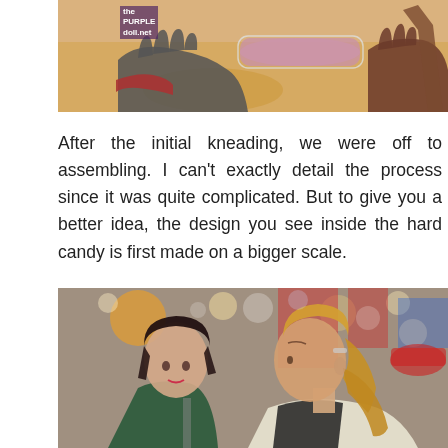[Figure (photo): Photo of hands with gloves working with candy/dough on a table, watermark 'the PURPLE doll.net' in top-left corner]
After the initial kneading, we were off to assembling. I can't exactly detail the process since it was quite complicated. But to give you a better idea, the design you see inside the hard candy is first made on a bigger scale.
[Figure (photo): Photo of two women working at a candy-making station in a busy indoor venue, one with dark hair and one with light/blonde hair in a ponytail]